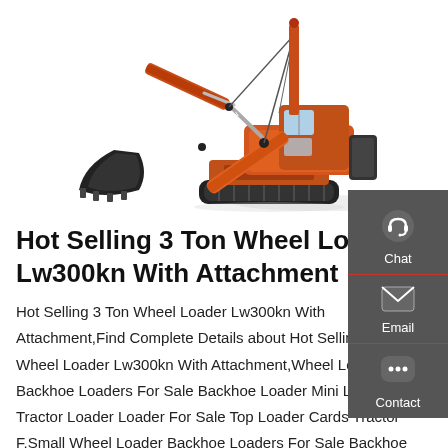[Figure (photo): Orange Doosan crawler excavator with boom arm and bucket extended, on white background]
Hot Selling 3 Ton Wheel Loader Lw300kn With Attachment
Hot Selling 3 Ton Wheel Loader Lw300kn With Attachment,Find Complete Details about Hot Selling 3 Ton Wheel Loader Lw300kn With Attachment,Wheel Loader Zl50 Backhoe Loaders For Sale Backhoe Loader Mini Loader Tractor Loader Loader For Sale Top Loader Cards Tractor F,Small Wheel Loader Backhoe Loaders For Sale Backhoe Loader Mini